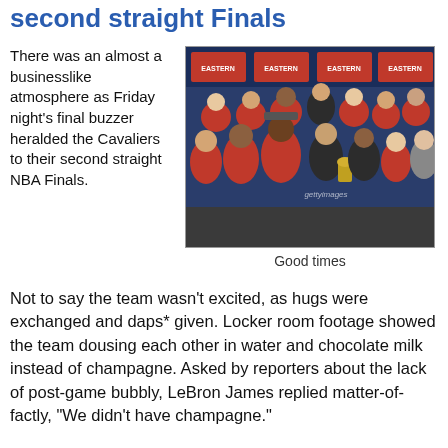second straight Finals
There was an almost a businesslike atmosphere as Friday night's final buzzer heralded the Cavaliers to their second straight NBA Finals.
[Figure (photo): Group photo of the Cleveland Cavaliers basketball team celebrating after winning the Eastern Conference Finals, with players in red/maroon jerseys and officials, holding a trophy. Getty Images watermark visible.]
Good times
Not to say the team wasn't excited, as hugs were exchanged and daps* given. Locker room footage showed the team dousing each other in water and chocolate milk instead of champagne. Asked by reporters about the lack of post-game bubbly, LeBron James replied matter-of-factly, "We didn't have champagne."